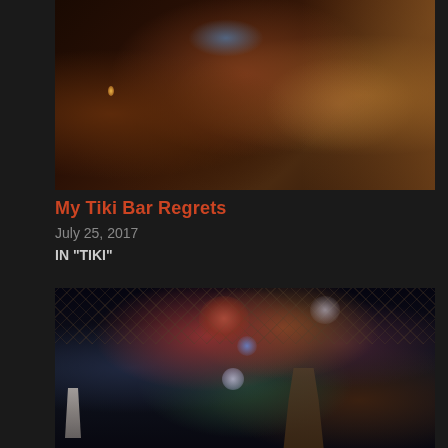[Figure (photo): Dark interior of a tiki bar showing tables, chairs, patrons sitting at a bar counter with warm amber lighting and dim atmospheric lighting throughout]
My Tiki Bar Regrets
July 25, 2017
IN "TIKI"
[Figure (photo): Interior of a tiki bar with elaborate ceiling decorations including hanging lamps, fish nets, colorful paper lanterns in blue and pink, a large Easter Island style moai statue head visible on the right, and lush tropical themed decor throughout]